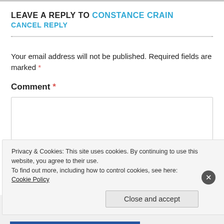LEAVE A REPLY TO CONSTANCE CRAIN
CANCEL REPLY
Your email address will not be published. Required fields are marked *
Comment *
[Figure (screenshot): Empty comment text area input box with light border]
Privacy & Cookies: This site uses cookies. By continuing to use this website, you agree to their use.
To find out more, including how to control cookies, see here: Cookie Policy
Close and accept